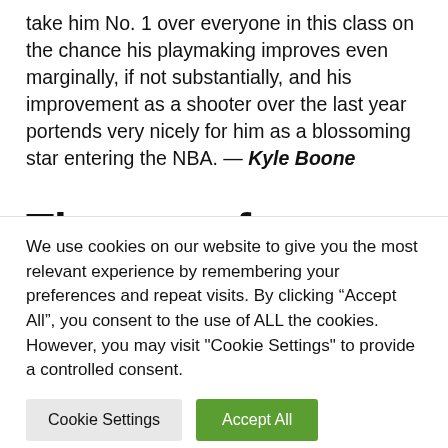take him No. 1 over everyone in this class on the chance his playmaking improves even marginally, if not substantially, and his improvement as a shooter over the last year portends very nicely for him as a blossoming star entering the NBA. — Kyle Boone
The case for Jabari Smith...
We use cookies on our website to give you the most relevant experience by remembering your preferences and repeat visits. By clicking "Accept All", you consent to the use of ALL the cookies. However, you may visit "Cookie Settings" to provide a controlled consent.